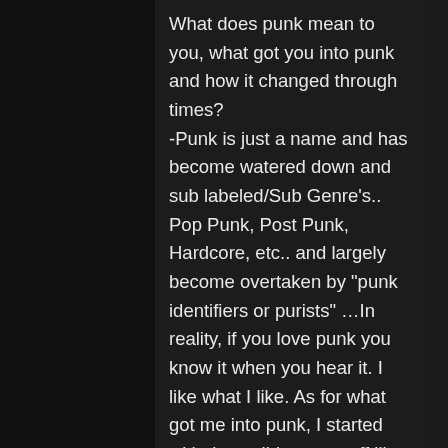What does punk mean to you, what got you into punk and how it changed through times? -Punk is just a name and has become watered down and sub labeled/Sub Genre's.. Pop Punk, Post Punk, Hardcore, etc.. and largely become overtaken by "punk identifiers or purists" …In reality, if you love punk you know it when you hear it. I like what I like. As for what got me into punk, I started with the well-known stuff like Ramones, Clash, Dead Boys, Misfits, GBH, Sex Pistols, but "The Sessions" really got me into a lot of good stuff and when I heard the